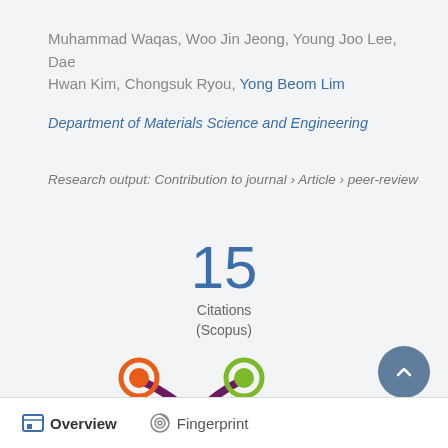Muhammad Waqas, Woo Jin Jeong, Young Joo Lee, Dae Hwan Kim, Chongsuk Ryou, Yong Beom Lim
Department of Materials Science and Engineering
Research output: Contribution to journal › Article › peer-review
15 Citations (Scopus)
[Figure (logo): Altmetric butterfly logo with orange, green and purple circles]
Overview   Fingerprint